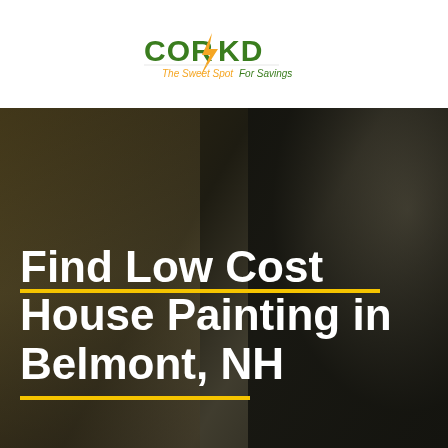[Figure (logo): CORKD logo with tagline 'The Sweet Spot For Savings' — orange and green text with lightning bolt]
[Figure (photo): Dark background photo of a house painter at work, blurred, with large white bold text overlay reading 'Find Low Cost House Painting in Belmont, NH' with two gold horizontal lines as decorative separators]